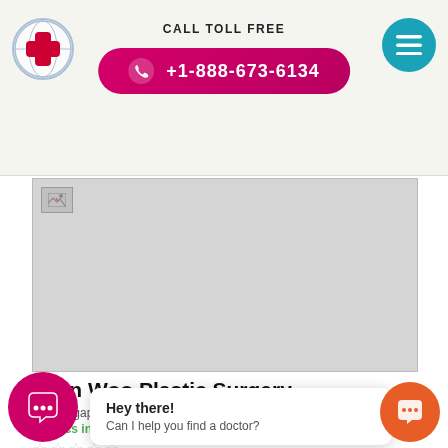CALL TOLL FREE +1-888-673-6134
[Figure (photo): Broken/unloaded image placeholder for Evan Woo Plastic Surgery]
Evan Woo Plastic Surgery
ore, Singapore, Singapore
Clinics in Singo
Hey there! Can I help you find a doctor?